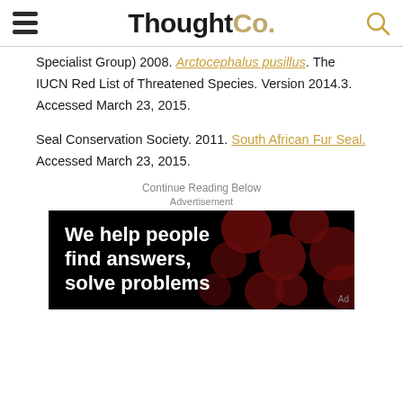ThoughtCo.
Specialist Group) 2008. Arctocephalus pusillus. The IUCN Red List of Threatened Species. Version 2014.3. Accessed March 23, 2015.
Seal Conservation Society. 2011. South African Fur Seal. Accessed March 23, 2015.
Continue Reading Below
Advertisement
[Figure (other): Advertisement banner with dark background featuring red/dark bokeh dots and white bold text reading 'We help people find answers, solve problems' with an 'Ad' label.]